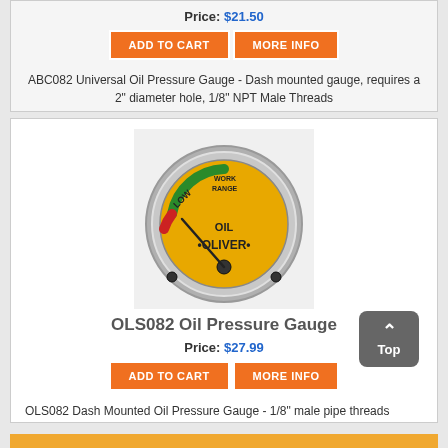Price: $21.50
ADD TO CART   MORE INFO
ABC082 Universal Oil Pressure Gauge - Dash mounted gauge, requires a 2" diameter hole, 1/8" NPT Male Threads
[Figure (photo): Yellow Oliver brand oil pressure gauge with chrome bezel, showing LOW and WORK RANGE labels on the dial face.]
OLS082 Oil Pressure Gauge
Price: $27.99
ADD TO CART   MORE INFO
OLS082 Dash Mounted Oil Pressure Gauge - 1/8" male pipe threads